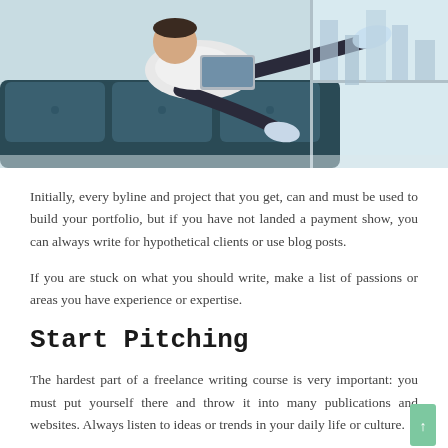[Figure (photo): Person sitting casually on a modern couch working on a laptop, in a bright office or lounge setting with large windows in the background.]
Initially, every byline and project that you get, can and must be used to build your portfolio, but if you have not landed a payment show, you can always write for hypothetical clients or use blog posts.
If you are stuck on what you should write, make a list of passions or areas you have experience or expertise.
Start Pitching
The hardest part of a freelance writing course is very important: you must put yourself there and throw it into many publications and websites. Always listen to ideas or trends in your daily life or culture.